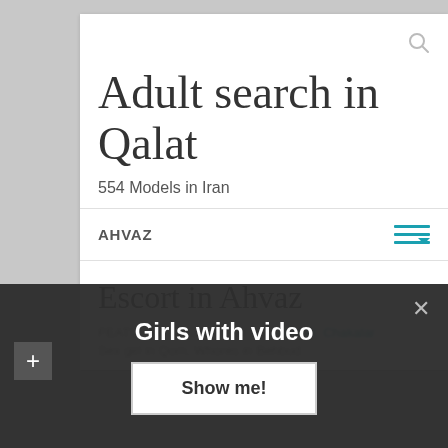Adult search in Qalat
554 Models in Iran
AHVAZ
Escort in Ahvaz
FEATURED Prostitutes in Iran: Escort, Chakalar Sex girl in Qom, Whores in Behbud
Girls with video
Show me!